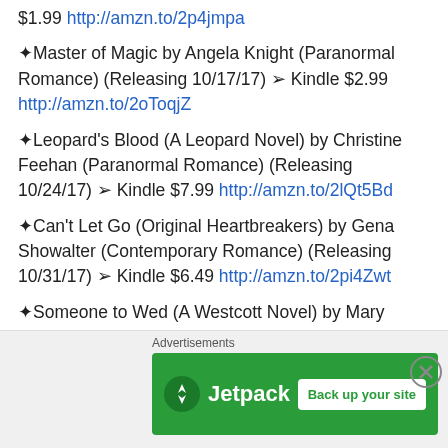$1.99 http://amzn.to/2p4jmpa
✦Master of Magic by Angela Knight (Paranormal Romance) (Releasing 10/17/17) ➢ Kindle $2.99 http://amzn.to/2oToqjZ
✦Leopard's Blood (A Leopard Novel) by Christine Feehan (Paranormal Romance) (Releasing 10/24/17) ➢ Kindle $7.99 http://amzn.to/2lQt5Bd
✦Can't Let Go (Original Heartbreakers) by Gena Showalter (Contemporary Romance) (Releasing 10/31/17) ➢ Kindle $6.49 http://amzn.to/2pi4Zwt
✦Someone to Wed (A Westcott Novel) by Mary Balogh
[Figure (infographic): Jetpack advertisement banner with green background, Jetpack logo, and 'Back up your site' button]